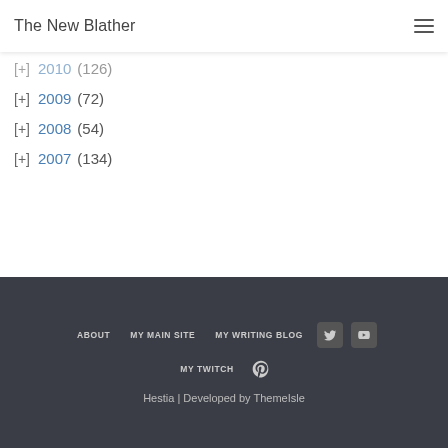The New Blather
[+] 2010 (126)
[+] 2009 (72)
[+] 2008 (54)
[+] 2007 (134)
ABOUT  MY MAIN SITE  MY WRITING BLOG  MY TWITCH  Hestia | Developed by ThemeIsle